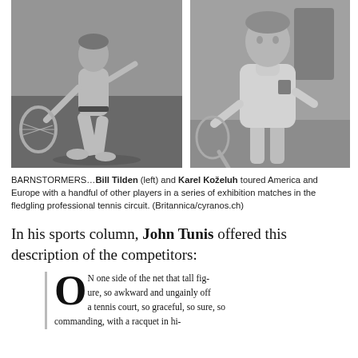[Figure (photo): Two black-and-white photos side by side: left photo shows Bill Tilden in action on a tennis court, swinging a racket; right photo shows Karel Kozeluh standing and holding a tennis racket.]
BARNSTORMERS…Bill Tilden (left) and Karel Koželuh toured America and Europe with a handful of other players in a series of exhibition matches in the fledgling professional tennis circuit. (Britannica/cyranos.ch)
In his sports column, John Tunis offered this description of the competitors:
ON one side of the net that tall figure, so awkward and ungainly off a tennis court, so graceful, so sure, so commanding, with a racquet in hi-